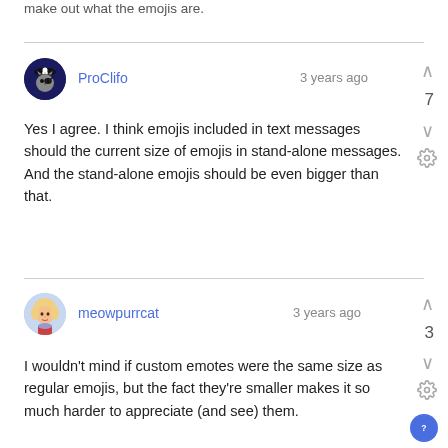make out what the emojis are.
[Figure (illustration): Avatar of user ProClifo: dark blue circular avatar with pirate cat character]
ProClifo   3 years ago
Yes I agree. I think emojis included in text messages should the current size of emojis in stand-alone messages. And the stand-alone emojis should be even bigger than that.
[Figure (illustration): Avatar of user meowpurrcat: circular avatar showing a blonde woman]
meowpurrcat   3 years ago
I wouldn't mind if custom emotes were the same size as regular emojis, but the fact they're smaller makes it so much harder to appreciate (and see) them.